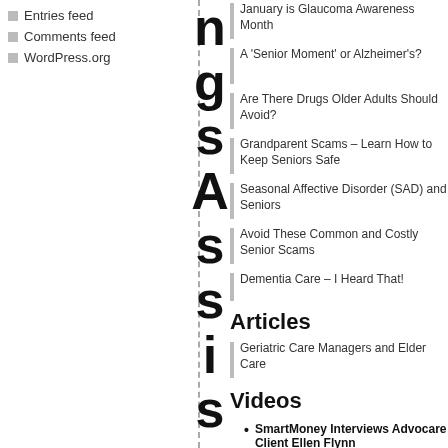Entries feed
Comments feed
WordPress.org
January is Glaucoma Awareness Month
A 'Senior Moment' or Alzheimer's?
Are There Drugs Older Adults Should Avoid?
Grandparent Scams – Learn How to Keep Seniors Safe
Seasonal Affective Disorder (SAD) and Seniors
Avoid These Common and Costly Senior Scams
Dementia Care – I Heard That!
Articles
Geriatric Care Managers and Elder Care
Videos
SmartMoney Interviews Advocare Client Ellen Flynn